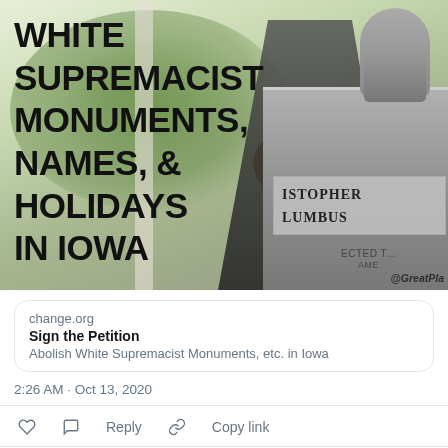[Figure (photo): Photo of a person standing with arms crossed in front of a Christopher Columbus monument/bust. Large bold black text overlay reads: WHITE SUPREMACIST MONUMENTS, NAMES, & HOLIDAYS IN IOWA. Watermark @GreatPla visible at bottom right.]
change.org
Sign the Petition
Abolish White Supremacist Monuments, etc. in Iowa
2:26 AM · Oct 13, 2020
Reply   Copy link
Explore what's happening on Twitter